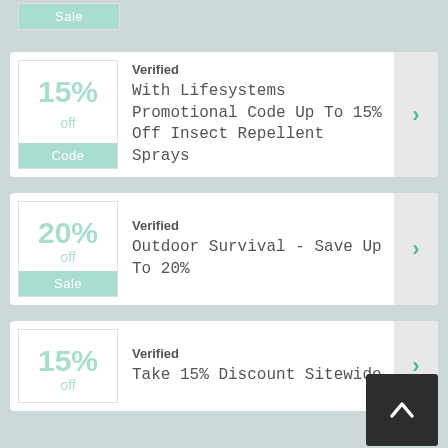[Figure (screenshot): Top partial coupon card showing 'Sale' badge label at bottom]
Verified — With Lifesystems Promotional Code Up To 15% Off Insect Repellent Sprays (Code)
Verified — Outdoor Survival - Save Up To 20% (Sale)
Verified — Take 15% Discount Sitewide